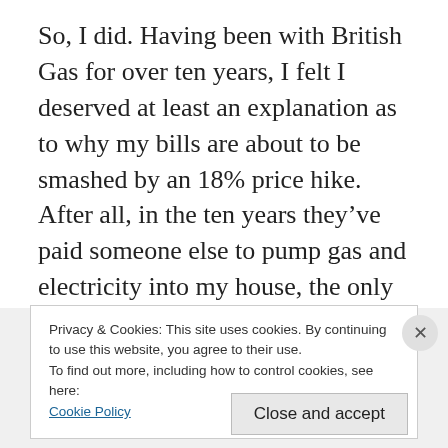So, I did. Having been with British Gas for over ten years, I felt I deserved at least an explanation as to why my bills are about to be smashed by an 18% price hike. After all, in the ten years they've paid someone else to pump gas and electricity into my house, the only offer I've had from them is for boiler cover. Or a new boiler. Free of charge, I wondered? No, I'd have to pay for either, but they would send
Privacy & Cookies: This site uses cookies. By continuing to use this website, you agree to their use.
To find out more, including how to control cookies, see here: Cookie Policy
Close and accept
Follow ···